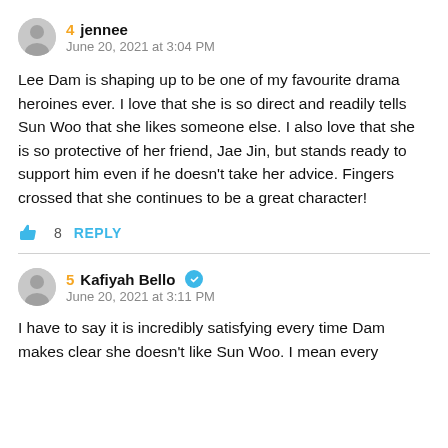4  jennee
June 20, 2021 at 3:04 PM
Lee Dam is shaping up to be one of my favourite drama heroines ever. I love that she is so direct and readily tells Sun Woo that she likes someone else. I also love that she is so protective of her friend, Jae Jin, but stands ready to support him even if he doesn't take her advice. Fingers crossed that she continues to be a great character!
8  REPLY
5  Kafiyah Bello
June 20, 2021 at 3:11 PM
I have to say it is incredibly satisfying every time Dam makes clear she doesn't like Sun Woo. I mean every